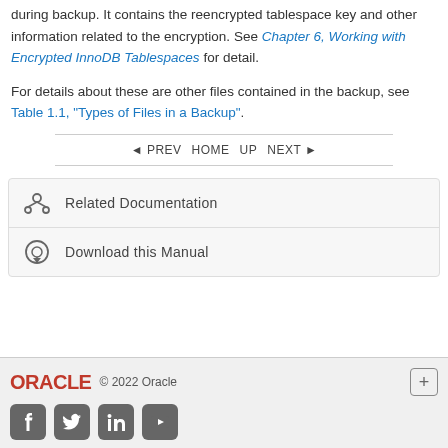during backup. It contains the reencrypted tablespace key and other information related to the encryption. See Chapter 6, Working with Encrypted InnoDB Tablespaces for detail.
For details about these are other files contained in the backup, see Table 1.1, "Types of Files in a Backup".
◄ PREV   HOME   UP   NEXT ►
Related Documentation
Download this Manual
© 2022 Oracle